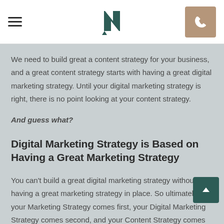[hamburger menu] [N logo] [phone button]
We need to build great a content strategy for your business, and a great content strategy starts with having a great digital marketing strategy. Until your digital marketing strategy is right, there is no point looking at your content strategy.
And guess what?
Digital Marketing Strategy is Based on Having a Great Marketing Strategy
You can't build a great digital marketing strategy without having a great marketing strategy in place. So ultimately, your Marketing Strategy comes first, your Digital Marketing Strategy comes second, and your Content Strategy comes third. We've highlighted